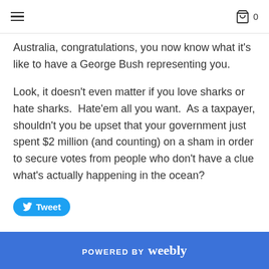≡  🛍 0
Australia, congratulations, you now know what it's like to have a George Bush representing you.
Look, it doesn't even matter if you love sharks or hate sharks.  Hate'em all you want.  As a taxpayer, shouldn't you be upset that your government just spent $2 million (and counting) on a sham in order to secure votes from people who don't have a clue what's actually happening in the ocean?
Tweet
POWERED BY weebly